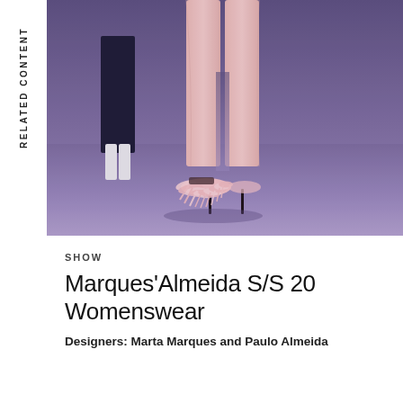RELATED CONTENT
[Figure (photo): Fashion runway photo showing a model's legs wearing pink satin trousers and feathered mule heels on a catwalk, with another model in white boots visible in the background. Purple/blue toned lighting.]
SHOW
Marques'Almeida S/S 20 Womenswear
Designers: Marta Marques and Paulo Almeida